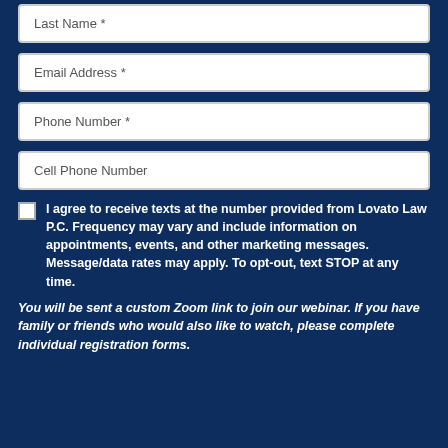Last Name *
Email Address *
Phone Number *
Cell Phone Number
I agree to receive texts at the number provided from Lovato Law P.C. Frequency may vary and include information on appointments, events, and other marketing messages. Message/data rates may apply. To opt-out, text STOP at any time.
You will be sent a custom Zoom link to join our webinar. If you have family or friends who would also like to watch, please complete individual registration forms.